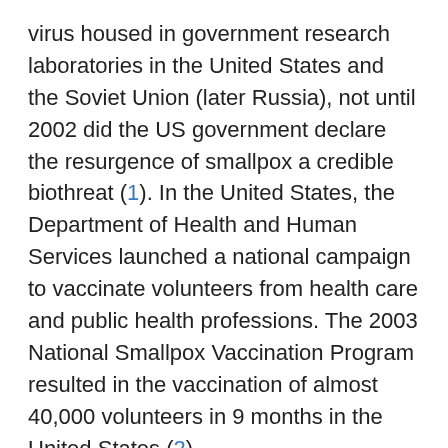virus housed in government research laboratories in the United States and the Soviet Union (later Russia), not until 2002 did the US government declare the resurgence of smallpox a credible biothreat (1). In the United States, the Department of Health and Human Services launched a national campaign to vaccinate volunteers from health care and public health professions. The 2003 National Smallpox Vaccination Program resulted in the vaccination of almost 40,000 volunteers in 9 months in the United States (2).
After the National Smallpox Vaccination Program ended in October 2003, experts at the Centers for Disease Control and Prevention (CDC; Atlanta, GA, USA) and members of the Advisory Committee on Immunization Practices (ACIP) met to determine future steps for response planning. These experts recommended that vaccinated persons from health